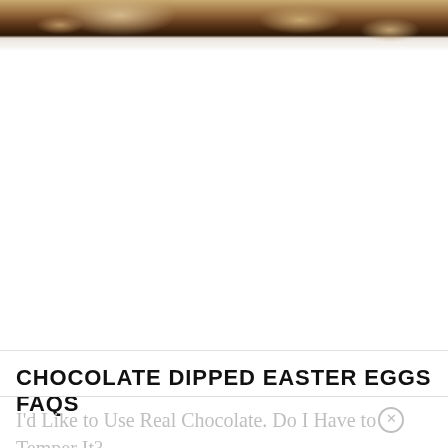[Figure (photo): Close-up photo of chocolate dipped Easter eggs showing dark chocolate coating and cream/coconut filling, partially cropped at top of page]
CHOCOLATE DIPPED EASTER EGGS FAQS
I'd Like to Use Real Chocolate. Do I Have to Temper It?